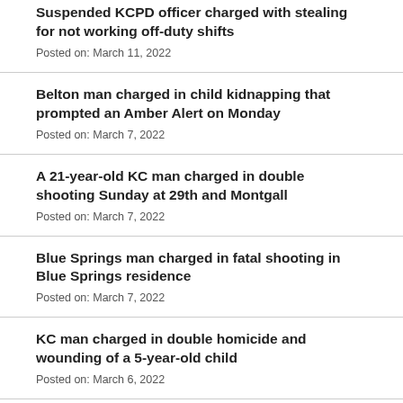Suspended KCPD officer charged with stealing for not working off-duty shifts
Posted on: March 11, 2022
Belton man charged in child kidnapping that prompted an Amber Alert on Monday
Posted on: March 7, 2022
A 21-year-old KC man charged in double shooting Sunday at 29th and Montgall
Posted on: March 7, 2022
Blue Springs man charged in fatal shooting in Blue Springs residence
Posted on: March 7, 2022
KC man charged in double homicide and wounding of a 5-year-old child
Posted on: March 6, 2022
Jury convicts KC man, 46, in fatal shooting of